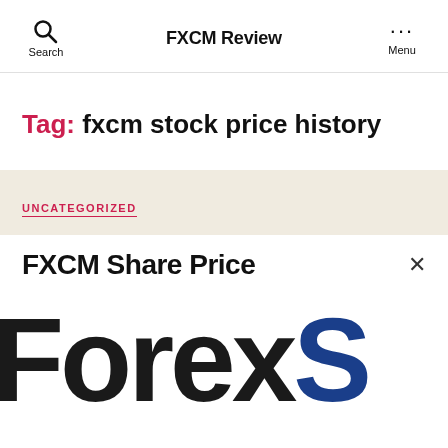Search | FXCM Review | Menu
Tag: fxcm stock price history
UNCATEGORIZED
FXCM Share Price
[Figure (logo): Large bold text reading 'ForexS' with 'Forex' in near-black and 'S' in dark blue, cropped banner logo]